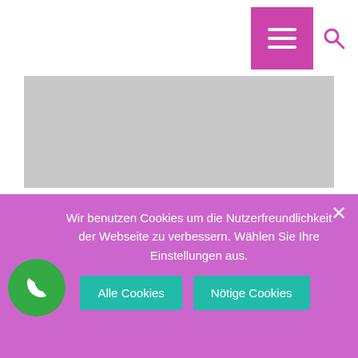[Figure (screenshot): Navigation bar with purple hamburger menu button and pink search icon on white background]
[Figure (photo): Gray rectangular banner/image placeholder]
PORTFOLIO RIGHT SIDEBAR
STANDARD PORTFOLIO
[Figure (illustration): Small pink clipboard/portfolio icon]
Wir benutzen Cookies um die Nutzerfreundlichkeit der Webseite zu verbessern. Wählen Sie Ihre Einstellungen aus.
Alle Cookies
Nötige Cookies